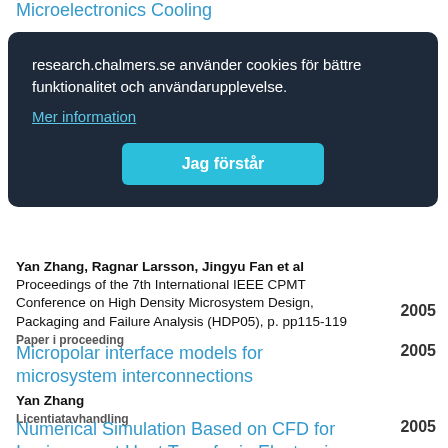Microelectronics Cooling
research.chalmers.se använder cookies för bättre funktionalitet och användarupplevelse.
Mer information
Jag förstår
p. 185-
2005
Yan Zhang, Ragnar Larsson, Jingyu Fan et al
Proceedings of the 7th International IEEE CPMT Conference on High Density Microsystem Design, Packaging and Failure Analysis (HDP05), p. pp115-119
Paper i proceeding
Micropolar interface models for microsystem interconnections
2005
Yan Zhang
Licentiatavhandling
Numerical Simulation Based on CFD for Impingement Heat Transfer in Electronics
2005